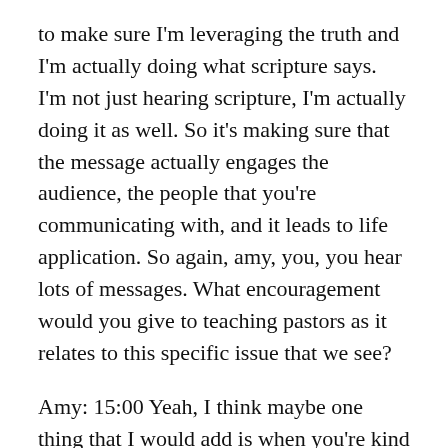to make sure I'm leveraging the truth and I'm actually doing what scripture says. I'm not just hearing scripture, I'm actually doing it as well. So it's making sure that the message actually engages the audience, the people that you're communicating with, and it leads to life application. So again, amy, you, you hear lots of messages. What encouragement would you give to teaching pastors as it relates to this specific issue that we see?
Amy: 15:00 Yeah, I think maybe one thing that I would add is when you're kind of testing that application piece is to ask yourself, is this applicable to both Christians and first time attenders because God's word I think is applicable to attenders and Christians alike. And then is there